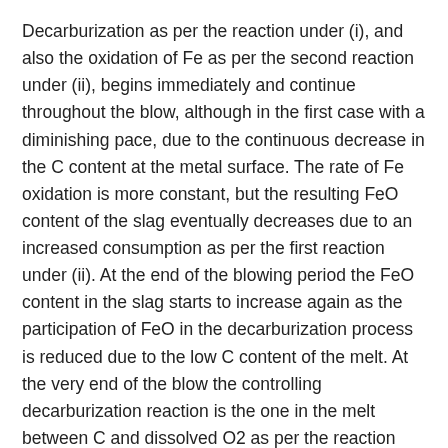Decarburization as per the reaction under (i), and also the oxidation of Fe as per the second reaction under (ii), begins immediately and continue throughout the blow, although in the first case with a diminishing pace, due to the continuous decrease in the C content at the metal surface. The rate of Fe oxidation is more constant, but the resulting FeO content of the slag eventually decreases due to an increased consumption as per the first reaction under (ii). At the end of the blowing period the FeO content in the slag starts to increase again as the participation of FeO in the decarburization process is reduced due to the low C content of the melt. At the very end of the blow the controlling decarburization reaction is the one in the melt between C and dissolved O2 as per the reaction under (iii). Hence, the decarburization rate at the end of the blow is dependent on mass transfer of C from the lower to the upper part of the melt and of dissolved